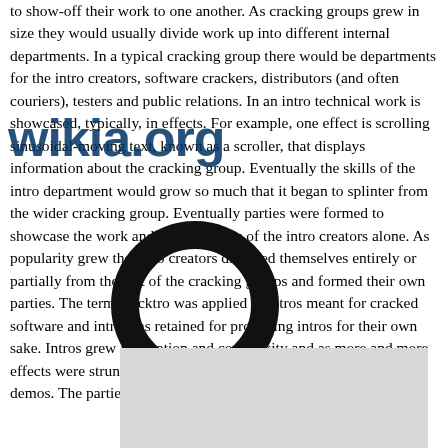to show-off their work to one another. As cracking groups grew in size they would usually divide work up into different internal departments. In a typical cracking group there would be departments for the intro creators, software crackers, distributors (and often couriers), testers and public relations. In an intro technical work is showcased, typically, in effects. For example, one effect is scrolling sinusoidal-moving text, known as a scroller, that displays information about the cracking group. Eventually the skills of the intro department would grow so much that it began to splinter from the wider cracking group. Eventually parties were formed to showcase the work and achievements of the intro creators alone. As popularity grew the intro creators divorced themselves entirely or partially from the rest of the cracking groups and formed their own parties. The term cracktro was applied to intros meant for cracked software and intro was retained for producing intros for their own sake. Intros grew in duration and complexity and as more and more effects were strung together in sequence they became known as demos. The parties to showcase then were named demoparties.
[Figure (logo): Wikia.org watermark logo overlaid on text]
[Figure (illustration): Large black magnifying glass icon overlaid on the text content]
[Figure (photo): Partial gray image box visible at bottom of page]